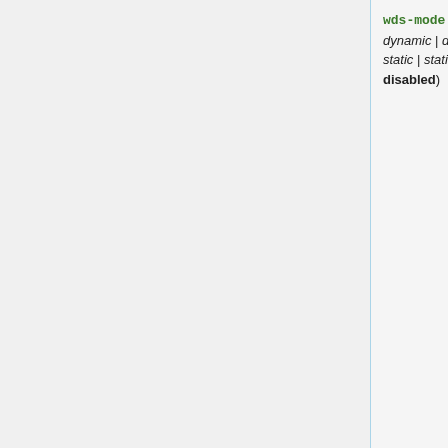wds-mode (disabled | dynamic | dynamic-mesh | static | static-mesh; Default: disabled)
Controls other d station- establis
disa link
sta that in w
dyn link con crea dyn WD aut con is lo -me (be esta that